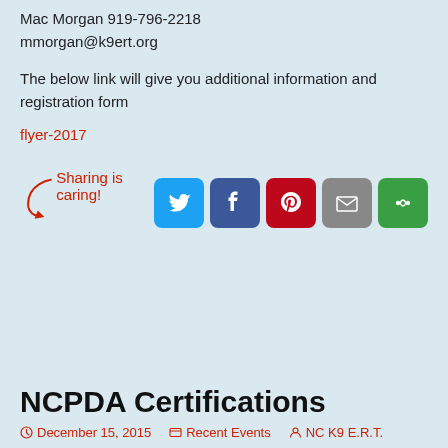Mac Morgan 919-796-2218
mmorgan@k9ert.org
The below link will give you additional information and registration form
flyer-2017
[Figure (infographic): Sharing is caring! social media sharing buttons: Twitter, Facebook, Pinterest, Email, More]
NCPDA Certifications
December 15, 2015   Recent Events   NC K9 E.R.T.